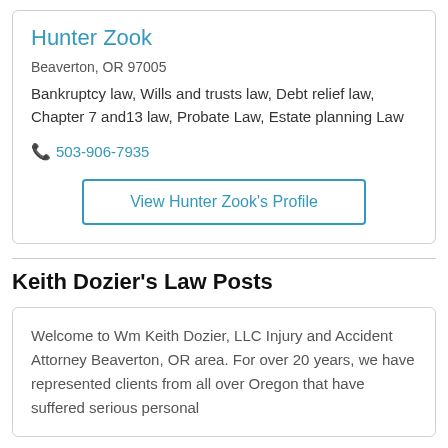Hunter Zook
Beaverton, OR 97005
Bankruptcy law, Wills and trusts law, Debt relief law, Chapter 7 and13 law, Probate Law, Estate planning Law
📞 503-906-7935
View Hunter Zook's Profile
Keith Dozier's Law Posts
Welcome to Wm Keith Dozier, LLC Injury and Accident Attorney Beaverton, OR area. For over 20 years, we have represented clients from all over Oregon that have suffered serious personal